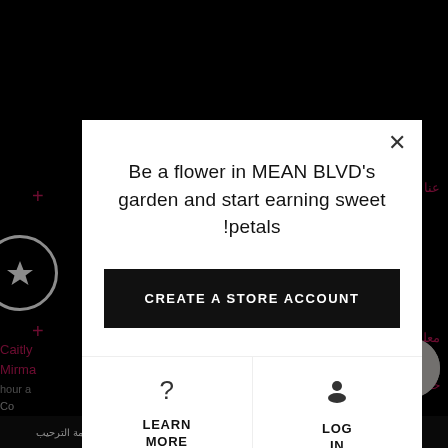[Figure (screenshot): E-commerce website screenshot with dark background showing Arabic navigation elements, pink plus signs, star icon, profile image, and bottom navigation bar with Arabic text]
Be a flower in MEAN BLVD's garden and start earning sweet !petals
CREATE A STORE ACCOUNT
LEARN MORE
LOG IN